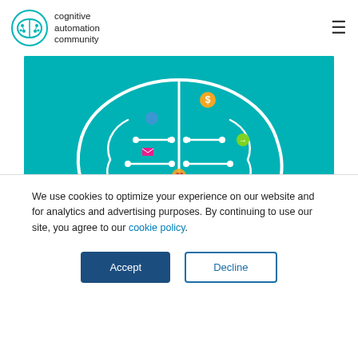cognitive automation community
[Figure (illustration): Teal/cyan background illustration of a brain made of circuit-board-like paths with colorful icons representing digital processes and automation concepts (people, money, social, shopping, technology symbols).]
ARTICLE
We use cookies to optimize your experience on our website and for analytics and advertising purposes. By continuing to use our site, you agree to our cookie policy.
Accept
Decline